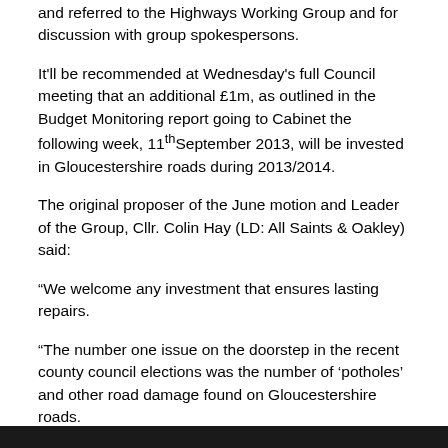and referred to the Highways Working Group and for discussion with group spokespersons.
It'll be recommended at Wednesday's full Council meeting that an additional £1m, as outlined in the Budget Monitoring report going to Cabinet the following week, 11th September 2013, will be invested in Gloucestershire roads during 2013/2014.
The original proposer of the June motion and Leader of the Group, Cllr. Colin Hay (LD: All Saints & Oakley) said:
“We welcome any investment that ensures lasting repairs.
“The number one issue on the doorstep in the recent county council elections was the number of ‘potholes’ and other road damage found on Gloucestershire roads.